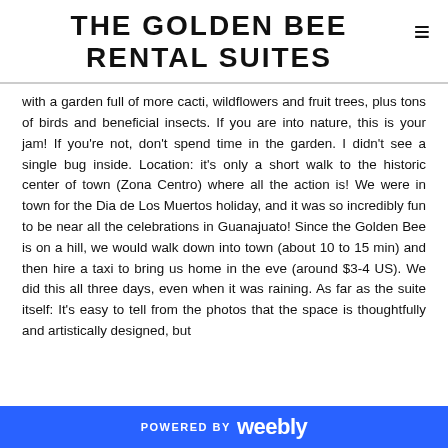THE GOLDEN BEE RENTAL SUITES
with a garden full of more cacti, wildflowers and fruit trees, plus tons of birds and beneficial insects. If you are into nature, this is your jam! If you're not, don't spend time in the garden. I didn't see a single bug inside. Location: it's only a short walk to the historic center of town (Zona Centro) where all the action is! We were in town for the Dia de Los Muertos holiday, and it was so incredibly fun to be near all the celebrations in Guanajuato! Since the Golden Bee is on a hill, we would walk down into town (about 10 to 15 min) and then hire a taxi to bring us home in the eve (around $3-4 US). We did this all three days, even when it was raining. As far as the suite itself: It's easy to tell from the photos that the space is thoughtfully and artistically designed, but
POWERED BY weebly